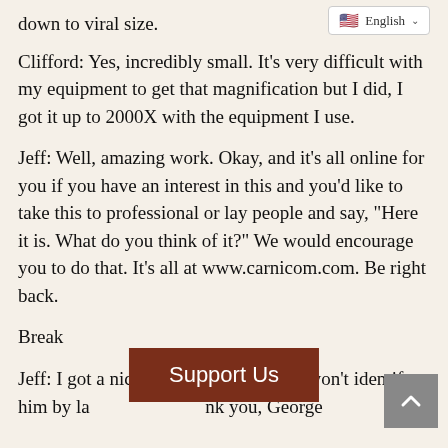down to viral size.
[Figure (screenshot): Language selector dropdown showing English with flag icon]
Clifford: Yes, incredibly small. It’s very difficult with my equipment to get that magnification but I did, I got it up to 2000X with the equipment I use.
Jeff: Well, amazing work. Okay, and it’s all online for you if you have an interest in this and you’d like to take this to professional or lay people and say, “Here it is. What do you think of it?” We would encourage you to do that. It’s all at www.carnicom.com. Be right back.
Break
Jeff: I got a nice rge. I won’t identify him by la nk you, George